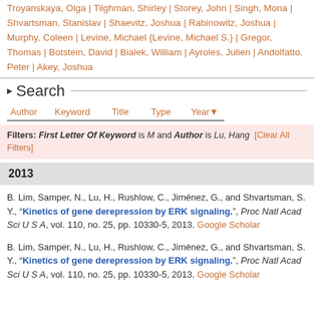Troyanskaya, Olga | Tilghman, Shirley | Storey, John | Singh, Mona | Shvartsman, Stanislav | Shaevitz, Joshua | Rabinowitz, Joshua | Murphy, Coleen | Levine, Michael {Levine, Michael S.} | Gregor, Thomas | Botstein, David | Bialek, William | Ayroles, Julien | Andolfatto, Peter | Akey, Joshua
Search
Author | Keyword | Title | Type | Year
Filters: First Letter Of Keyword is M and Author is Lu, Hang [Clear All Filters]
2013
B. Lim, Samper, N., Lu, H., Rushlow, C., Jiménez, G., and Shvartsman, S. Y., "Kinetics of gene derepression by ERK signaling.", Proc Natl Acad Sci U S A, vol. 110, no. 25, pp. 10330-5, 2013. Google Scholar
B. Lim, Samper, N., Lu, H., Rushlow, C., Jiménez, G., and Shvartsman, S. Y., "Kinetics of gene derepression by ERK signaling.", Proc Natl Acad Sci U S A, vol. 110, no. 25, pp. 10330-5, 2013. Google Scholar